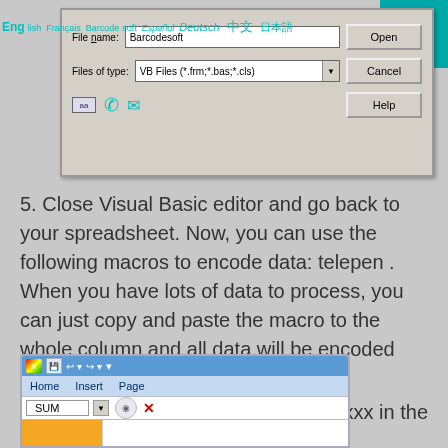[Figure (screenshot): Windows dialog box showing File name: Barcodesoft, Files of type: VB Files (*.frm;*.bas;*.cls), with Open, Cancel, Help buttons. Language bar at top with English, Français, Barcodesoft, Español, Deutsch, 中文, 日本語. Teal hamburger menu button top right. Phone and email icons.]
5. Close Visual Basic editor and go back to your spreadsheet. Now, you can use the following macros to encode data: telepen . When you have lots of data to process, you can just copy and paste the macro to the whole column and all data will be encoded immediately.
Please use cell reference to replace xxx in the formulas as shown below.
[Figure (screenshot): Microsoft Excel 2007 ribbon interface showing Home, Insert, Page tabs, SUM dropdown in formula bar, with colorful Office button.]